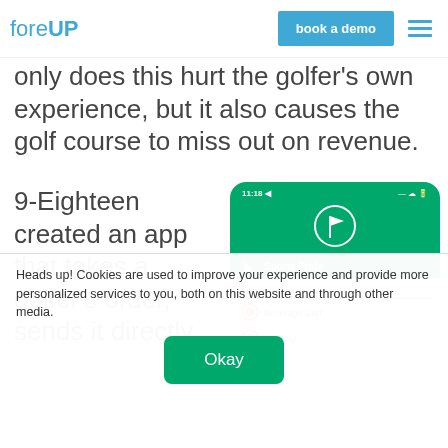foreUP | book a demo
only does this hurt the golfer's own experience, but it also causes the golf course to miss out on revenue.
9-Eighteen created an app that takes a golfer's order, sends it directly
[Figure (screenshot): Mobile app screenshot showing a golf course ordering app with Sports Pride interface. Status bar shows 11:18. Green header with golf flag icon. Below shows 'MENU LOCATIONS' section with Beverage Cart and Subway listed with red location pins.]
Heads up! Cookies are used to improve your experience and provide more personalized services to you, both on this website and through other media.
Okay